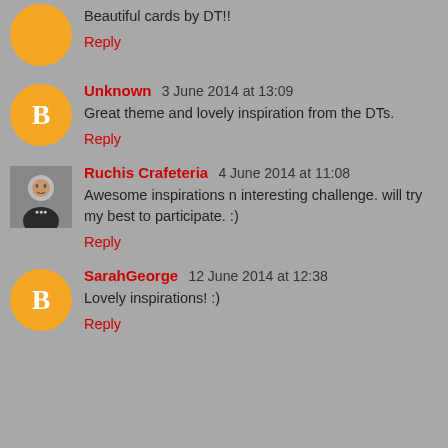Beautiful cards by DT!!
Reply
Unknown 3 June 2014 at 13:09
Great theme and lovely inspiration from the DTs.
Reply
Ruchis Crafeteria 4 June 2014 at 11:08
Awesome inspirations n interesting challenge. will try my best to participate. :)
Reply
SarahGeorge 12 June 2014 at 12:38
Lovely inspirations! :)
Reply